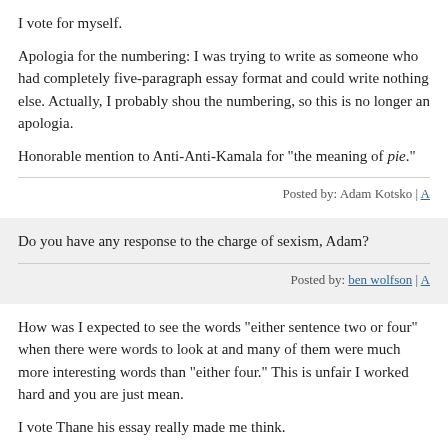I vote for myself.
Apologia for the numbering: I was trying to write as someone who had completely internalized the five-paragraph essay format and could write nothing else. Actually, I probably should have kept the numbering, so this is no longer an apologia.
Honorable mention to Anti-Anti-Kamala for "the meaning of pie."
Posted by: Adam Kotsko |
Do you have any response to the charge of sexism, Adam?
Posted by: ben wolfson |
How was I expected to see the words "either sentence two or four" when there were so many words to look at and many of them were much more interesting words than "either sentence two or four." This is unfair I worked hard and you are just mean.
I vote Thane his essay really made me think.